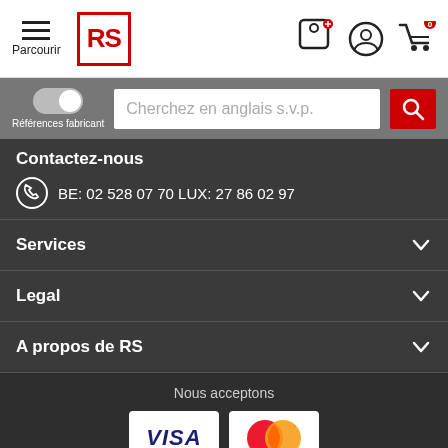Parcourir | RS | [icons: location, account, cart 0]
Références fabricant | Cherchez en anglais s.v.p.
Contactez-nous
BE: 02 528 07 70 LUX: 27 86 02 97
Services
Legal
A propos de RS
Nous acceptons
[Figure (logo): VISA and MasterCard payment logos]
Retrouvez-nous sur